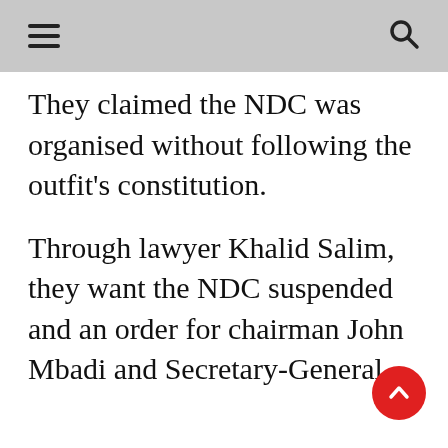≡  🔍
They claimed the NDC was organised without following the outfit's constitution.
Through lawyer Khalid Salim, they want the NDC suspended and an order for chairman John Mbadi and Secretary-General